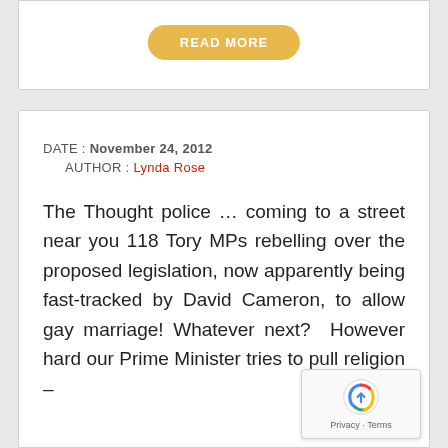[Figure (other): READ MORE button (yellow/gold pill-shaped button with white uppercase text)]
DATE : November 24, 2012
AUTHOR : Lynda Rose
The Thought police … coming to a street near you 118 Tory MPs rebelling over the proposed legislation, now apparently being fast-tracked by David Cameron, to allow gay marriage! Whatever next?  However hard our Prime Minister tries to pull religion –